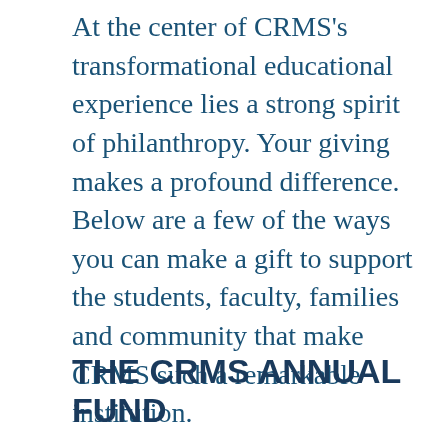At the center of CRMS's transformational educational experience lies a strong spirit of philanthropy. Your giving makes a profound difference. Below are a few of the ways you can make a gift to support the students, faculty, families and community that make CRMS such a remarkable institution.
THE CRMS ANNUAL FUND